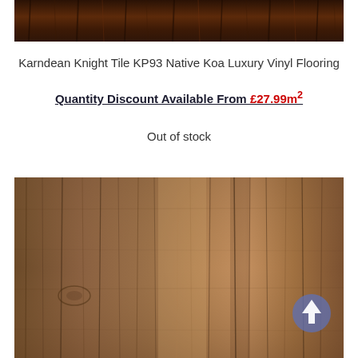[Figure (photo): Close-up photo of dark brown wood grain flooring texture, top portion of page]
Karndean Knight Tile KP93 Native Koa Luxury Vinyl Flooring
Quantity Discount Available From £27.99m²
Out of stock
[Figure (photo): Close-up photo of medium brown wood grain flooring texture with knots and grain lines, lower portion of page, with a blue circular scroll-to-top button overlay]